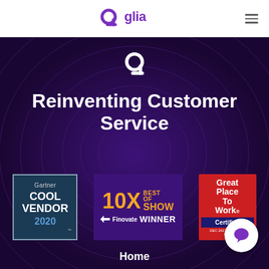[Figure (logo): Glia logo in navbar — purple 'g' icon followed by 'glia' wordmark in purple]
[Figure (illustration): White Glia 'g' icon centered in hero section over dark purple concentric arc background]
Reinventing Customer Service
[Figure (illustration): Gartner Cool Vendor 2020 badge — dark navy with teal border]
[Figure (illustration): Finovate 10X Best of Show Winner badge — purple background with gold and white text]
[Figure (illustration): Great Place To Work Certified badge — red background with navy certified stripe]
[Figure (illustration): White circular chat bubble button at bottom right]
Home